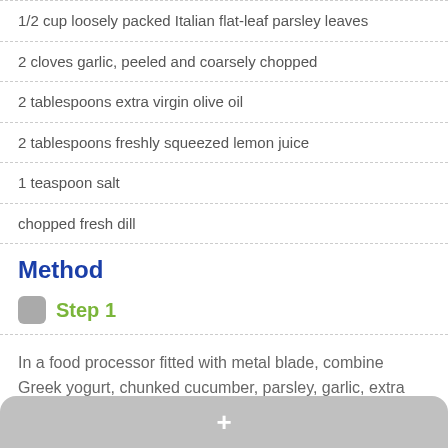1/2 cup loosely packed Italian flat-leaf parsley leaves
2 cloves garlic, peeled and coarsely chopped
2 tablespoons extra virgin olive oil
2 tablespoons freshly squeezed lemon juice
1 teaspoon salt
chopped fresh dill
Method
Step 1
In a food processor fitted with metal blade, combine Greek yogurt, chunked cucumber, parsley, garlic, extra virgin olive oil,